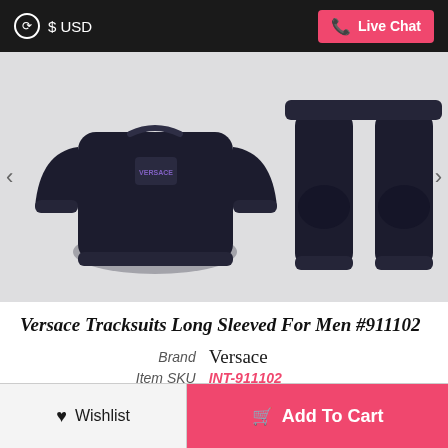$ USD   Live Chat
[Figure (photo): Black Versace tracksuit set — sweatshirt on left, matching track pants on right with 'VERSACE' lettering on lower leg, displayed on light gray background]
Versace Tracksuits Long Sleeved For Men #911102
| Brand | Versace |
| Item SKU | INT-911102 |
| Weight | 1.200 Kilogram |
| Unit Price | $85.00 USD |
♥ Wishlist   🛒 Add To Cart